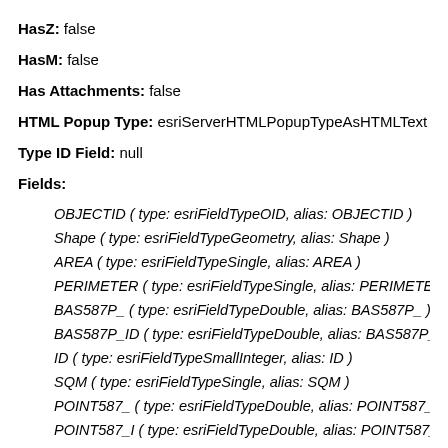HasZ: false
HasM: false
Has Attachments: false
HTML Popup Type: esriServerHTMLPopupTypeAsHTMLText
Type ID Field: null
Fields:
OBJECTID ( type: esriFieldTypeOID, alias: OBJECTID )
Shape ( type: esriFieldTypeGeometry, alias: Shape )
AREA ( type: esriFieldTypeSingle, alias: AREA )
PERIMETER ( type: esriFieldTypeSingle, alias: PERIMETER )
BAS587P_ ( type: esriFieldTypeDouble, alias: BAS587P_ )
BAS587P_ID ( type: esriFieldTypeDouble, alias: BAS587P_ID )
ID ( type: esriFieldTypeSmallInteger, alias: ID )
SQM ( type: esriFieldTypeSingle, alias: SQM )
POINT587_ ( type: esriFieldTypeDouble, alias: POINT587_ )
POINT587_I ( type: esriFieldTypeDouble, alias: POINT587_I )
VALANCE ( type: esriFieldTypeDouble, alias: VALANCE )
COM_ID ( type: esriFieldTypeDouble, alias: COM_ID )